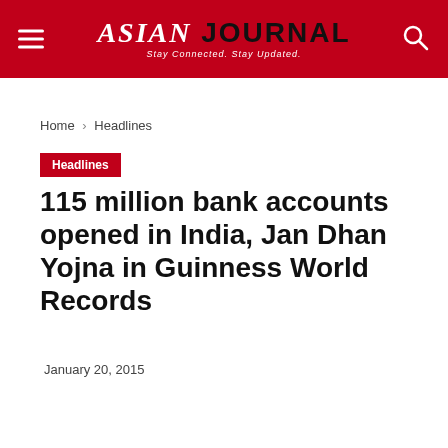ASIAN JOURNAL — Stay Connected. Stay Updated.
Home › Headlines
Headlines
115 million bank accounts opened in India, Jan Dhan Yojna in Guinness World Records
January 20, 2015